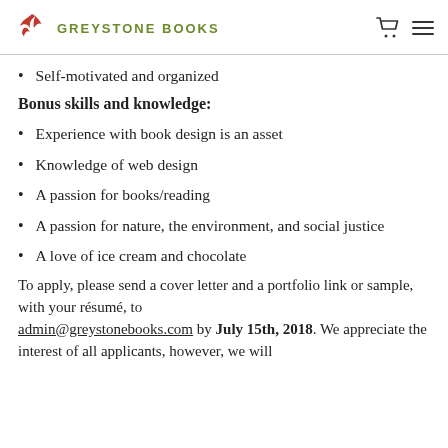GREYSTONE BOOKS
Self-motivated and organized
Bonus skills and knowledge:
Experience with book design is an asset
Knowledge of web design
A passion for books/reading
A passion for nature, the environment, and social justice
A love of ice cream and chocolate
To apply, please send a cover letter and a portfolio link or sample, with your résumé, to admin@greystonebooks.com by July 15th, 2018. We appreciate the interest of all applicants, however, we will